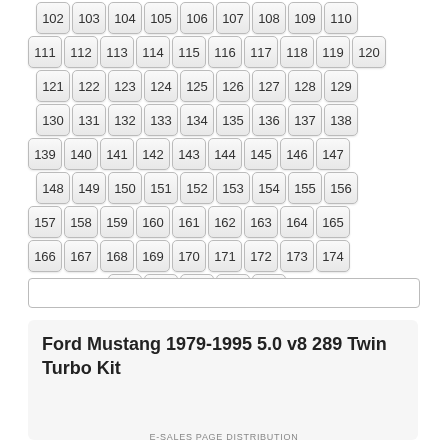102 103 104 105 106 107 108 109 110
111 112 113 114 115 116 117 118 119 120
121 122 123 124 125 126 127 128 129
130 131 132 133 134 135 136 137 138
139 140 141 142 143 144 145 146 147
148 149 150 151 152 153 154 155 156
157 158 159 160 161 162 163 164 165
166 167 168 169 170 171 172 173 174
175 176 177 178 »
Ford Mustang 1979-1995 5.0 v8 289 Twin Turbo Kit
E-SALES PAGE DISTRIBUTION